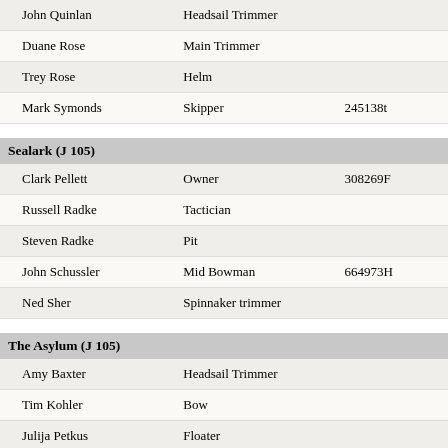| Name | Role | ID |
| --- | --- | --- |
| John Quinlan | Headsail Trimmer |  |
| Duane Rose | Main Trimmer |  |
| Trey Rose | Helm |  |
| Mark Symonds | Skipper | 245138t |
Sealark (J 105)
| Name | Role | ID |
| --- | --- | --- |
| Clark Pellett | Owner | 308269F |
| Russell Radke | Tactician |  |
| Steven Radke | Pit |  |
| John Schussler | Mid Bowman | 664973H |
| Ned Sher | Spinnaker trimmer |  |
The Asylum (J 105)
| Name | Role | ID |
| --- | --- | --- |
| Amy Baxter | Headsail Trimmer |  |
| Tim Kohler | Bow |  |
| Julija Petkus | Floater |  |
| Andy Vincent | Pit | 691982K |
| Jon Weglarz |  | 219487K |
| Sean Wilson | Main Trimmer | 323023H |